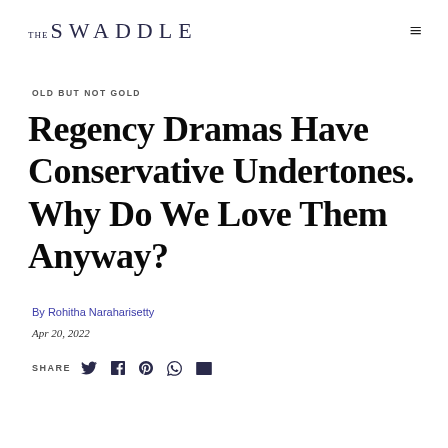THE SWADDLE
OLD BUT NOT GOLD
Regency Dramas Have Conservative Undertones. Why Do We Love Them Anyway?
By Rohitha Naraharisetty
Apr 20, 2022
SHARE